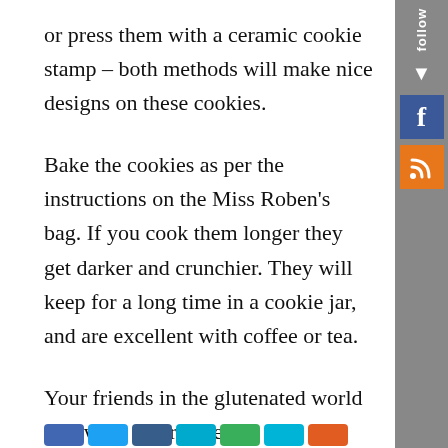or press them with a ceramic cookie stamp – both methods will make nice designs on these cookies.
Bake the cookies as per the instructions on the Miss Roben's bag. If you cook them longer they get darker and crunchier. They will keep for a long time in a cookie jar, and are excellent with coffee or tea.
Your friends in the glutenated world will want this recipe!
Make sure that you use all gluten-free ingredients!
[Figure (other): Social media follow sidebar with Follow label, down arrow, Facebook icon (blue), and RSS icon (orange). Bottom share buttons row.]